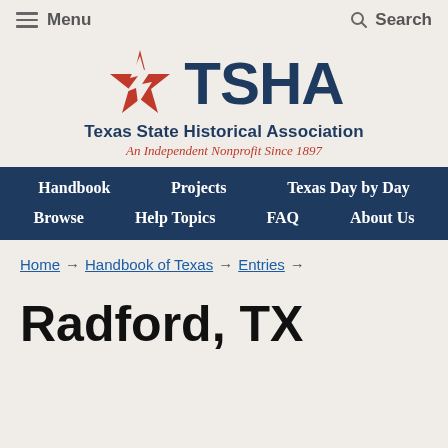Menu   Search
[Figure (logo): Texas State Historical Association (TSHA) logo with red star icon and dark blue TSHA text, followed by 'Texas State Historical Association' and italic tagline 'An Independent Nonprofit Since 1897']
Handbook   Projects   Texas Day by Day   Browse   Help Topics   FAQ   About Us
Home → Handbook of Texas → Entries →
Radford, TX